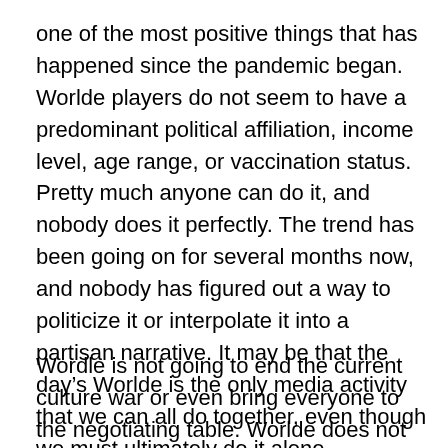one of the most positive things that has happened since the pandemic began. Worlde players do not seem to have a predominant political affiliation, income level, age range, or vaccination status. Pretty much anyone can do it, and nobody does it perfectly. The trend has been going on for several months now, and nobody has figured out a way to politicize it or interpolate it into a partisan narrative. It may be that the day's Worlde is the only media activity that we can all do together, even though we must ultimately do it alone.
Wordle is not going to end the current culture war or even bring everyone to the negotiating table. Worlde does not have a foreign policy or a domestic agenda, and it doesn't get to nominate anyone to the Supreme Court. But the fact that it has become such a global phenomenon in such a